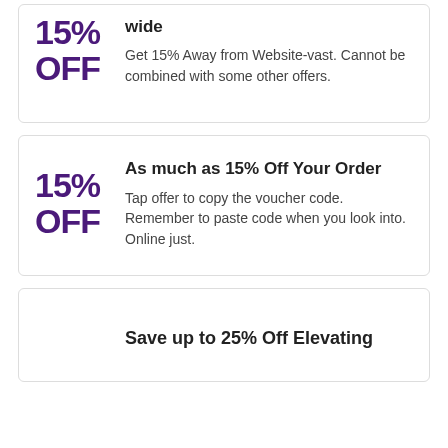15% OFF — wide. Get 15% Away from Website-vast. Cannot be combined with some other offers.
15% OFF — As much as 15% Off Your Order. Tap offer to copy the voucher code. Remember to paste code when you look into. Online just.
Save up to 25% Off Elevating